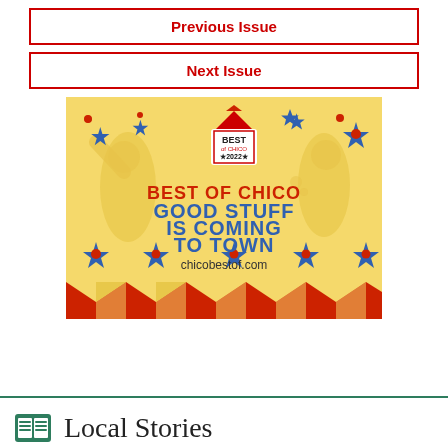Previous Issue
Next Issue
[Figure (illustration): Best of Chico 2022 advertisement banner with circus/carnival theme. Text reads: BEST OF CHICO - GOOD STUFF IS COMING TO TOWN - chicobestof.com. Yellow background with red and blue star decorations and red tent-shaped banner elements at the bottom.]
Local Stories